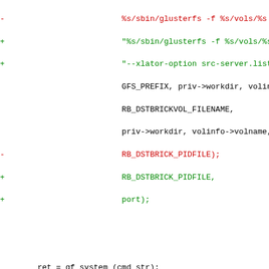[Figure (other): A unified diff code snippet showing changes to glusterfs rebalance code, with red lines for removed content and green lines for added content, and blue for diff hunk headers.]